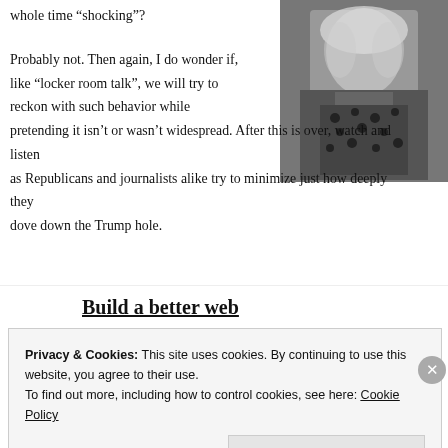whole time “shocking”?
[Figure (photo): Black and white photo of a blonde woman in a dark patterned top]
Probably not. Then again, I do wonder if, like “locker room talk”, we will try to reckon with such behavior while pretending it isn’t or wasn’t widespread. After this is over, watch and listen as Republicans and journalists alike try to minimize just how deeply they dove down the Trump hole.
[Figure (infographic): Advertisement banner: 'Build a better web and a better world.' with an Apply button and a circular photo of a man thinking]
Privacy & Cookies: This site uses cookies. By continuing to use this website, you agree to their use.
To find out more, including how to control cookies, see here: Cookie Policy
Close and accept